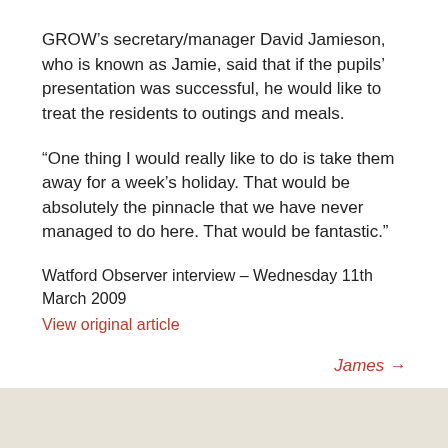GROW's secretary/manager David Jamieson, who is known as Jamie, said that if the pupils' presentation was successful, he would like to treat the residents to outings and meals.
“One thing I would really like to do is take them away for a week’s holiday. That would be absolutely the pinnacle that we have never managed to do here. That would be fantastic.”
Watford Observer interview – Wednesday 11th March 2009
View original article
James →